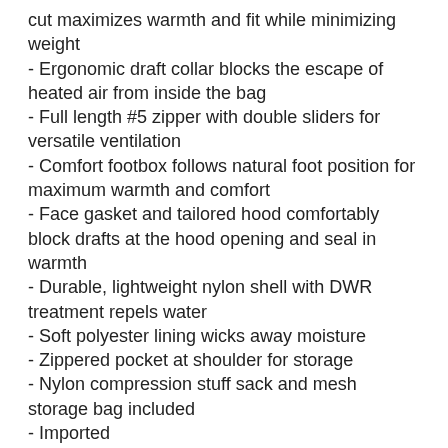cut maximizes warmth and fit while minimizing weight
- Ergonomic draft collar blocks the escape of heated air from inside the bag
- Full length #5 zipper with double sliders for versatile ventilation
- Comfort footbox follows natural foot position for maximum warmth and comfort
- Face gasket and tailored hood comfortably block drafts at the hood opening and seal in warmth
- Durable, lightweight nylon shell with DWR treatment repels water
- Soft polyester lining wicks away moisture
- Zippered pocket at shoulder for storage
- Nylon compression stuff sack and mesh storage bag included
- Imported
Product Materials:
- Fabric Body: 30D Nylon Ripstop
- Insulation: Thermal.Q? 200 g/m²
- Bag Fill Type: SYNTHETIC
Product Measurements:
- Weight: Regular 3 lb 7.7 oz / 1550 g; Long 3 lb 11.6 oz / 1690 g